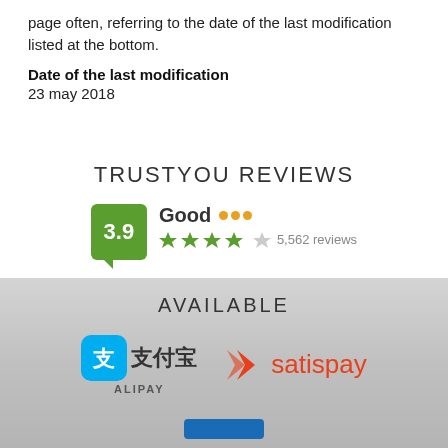page often, referring to the date of the last modification listed at the bottom.
Date of the last modification
23 may 2018
TRUSTYOU REVIEWS
[Figure (infographic): TrustYou review badge showing score 3.9, label Good with orange dots, 4 stars out of 5, 5,562 reviews]
AVAILABLE
[Figure (logo): Alipay logo with blue icon and Chinese characters 支付宝 and text ALIPAY]
[Figure (logo): Satispay logo with orange chevron icon and text satispay]
[Figure (other): Partial blue button at bottom, cut off]